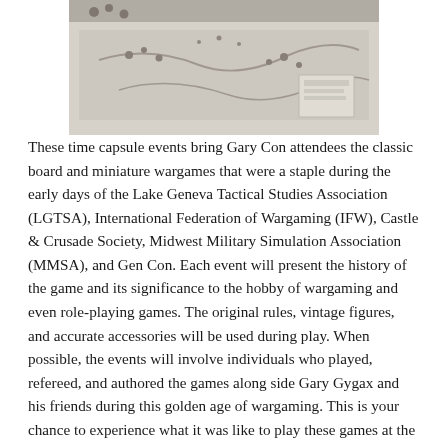[Figure (photo): Black and white photograph showing a tabletop wargame scene viewed from above, with miniature figures and terrain on a gaming table.]
These time capsule events bring Gary Con attendees the classic board and miniature wargames that were a staple during the early days of the Lake Geneva Tactical Studies Association (LGTSA), International Federation of Wargaming (IFW), Castle & Crusade Society, Midwest Military Simulation Association (MMSA), and Gen Con. Each event will present the history of the game and its significance to the hobby of wargaming and even role-playing games. The original rules, vintage figures, and accurate accessories will be used during play. When possible, the events will involve individuals who played, refereed, and authored the games along side Gary Gygax and his friends during this golden age of wargaming. This is your chance to experience what it was like to play these games at the earliest Gen Cons